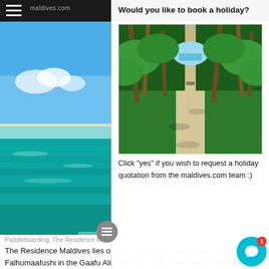Would you like to book a holiday?
[Figure (photo): Tropical pathway lined with lush green palm trees and tropical plants leading to a beach, with sandy path and dappled sunlight]
Click "yes" if you wish to request a holiday quotation from the maldives.com team :)
[Figure (photo): Aerial/ground view of turquoise clear ocean water with a sandbank visible in the Maldives, taken during paddleboarding at The Residence Maldives]
Paddleboarding, The Residence Maldives
The Residence Maldives lies on the unspoilt southern island of Falhumaafushi in the Gaafu Alifu atoll, part of one of the largest and deepest atolls in The Maldives, Huvadhoo. The 94 beach-front and overwater villa resort